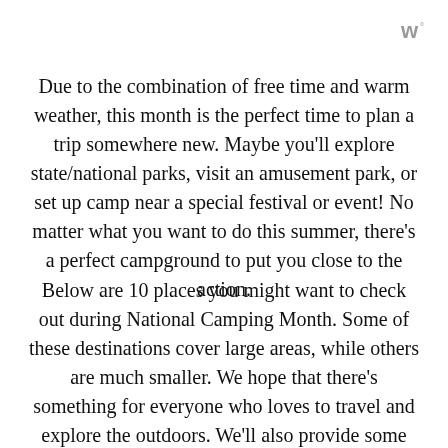w°
Due to the combination of free time and warm weather, this month is the perfect time to plan a trip somewhere new. Maybe you'll explore state/national parks, visit an amusement park, or set up camp near a special festival or event! No matter what you want to do this summer, there's a perfect campground to put you close to the action.
Below are 10 places you might want to check out during National Camping Month. Some of these destinations cover large areas, while others are much smaller. We hope that there's something for everyone who loves to travel and explore the outdoors. We'll also provide some information